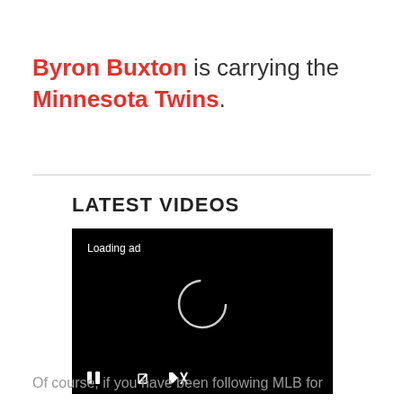Byron Buxton is carrying the Minnesota Twins.
[Figure (screenshot): Black video player with 'Loading ad' text, a spinner icon in the center, and playback controls (pause, expand, mute) at the bottom]
LATEST VIDEOS
Of course, if you have been following MLB for